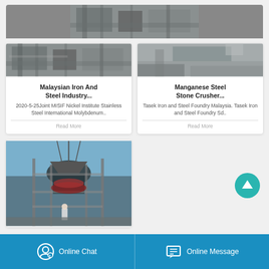[Figure (photo): Industrial steel facility exterior photo]
Malaysian Iron And Steel Industry...
2020-5-25Joint MISIF Nickel Institute Stainless Steel International Molybdenum..
Read More
[Figure (photo): Manganese stone crusher facility photo]
Manganese Steel Stone Crusher...
Tasek Iron and Steel Foundry Malaysia. Tasek Iron and Steel Foundry Sd..
Read More
[Figure (photo): Cone crusher machine on scaffolding with worker]
Online Chat
Online Message